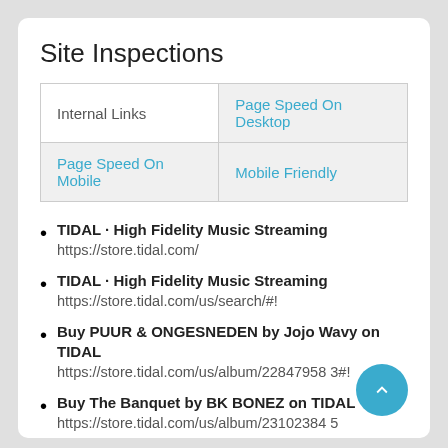Site Inspections
| Internal Links | Page Speed On Desktop | Page Speed On Mobile | Mobile Friendly |
| --- | --- | --- | --- |
TIDAL · High Fidelity Music Streaming
https://store.tidal.com/
TIDAL · High Fidelity Music Streaming
https://store.tidal.com/us/search/#!
Buy PUUR & ONGESNEDEN by Jojo Wavy on TIDAL
https://store.tidal.com/us/album/228479583#!
Buy The Banquet by BK BONEZ on TIDAL
https://store.tidal.com/us/album/231023845
Buy OFFAIR: Dr. No's Lost Beach by Oh No on TIDAL